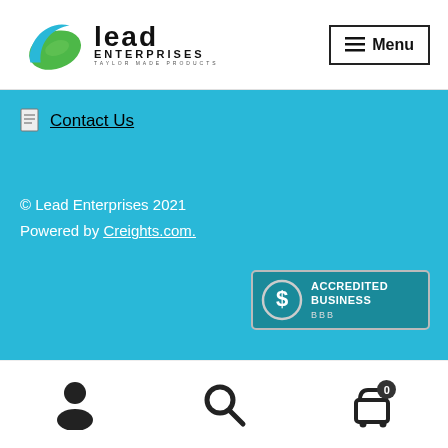[Figure (logo): Lead Enterprises logo with stylized blue and green swoosh, brand name 'Lead Enterprises Taylor Made Products' in bold black text]
[Figure (other): Hamburger menu button with three lines icon and 'Menu' text, bordered rectangle]
Contact Us
© Lead Enterprises 2021
Powered by Creights.com.
[Figure (logo): BBB Accredited Business badge with dollar sign icon in teal circular border, text ACCREDITED BUSINESS, BBB label]
[Figure (other): Bottom navigation bar icons: person/user icon, search/magnifying glass icon, shopping cart icon with badge showing 0]